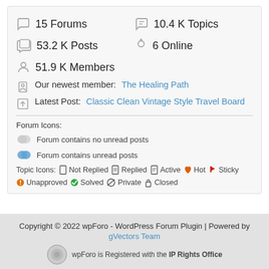15 Forums
10.4 K Topics
53.2 K Posts
6 Online
51.9 K Members
Our newest member: The Healing Path
Latest Post: Classic Clean Vintage Style Travel Board
Forum Icons:
Forum contains no unread posts
Forum contains unread posts
Topic Icons: Not Replied  Replied  Active  Hot  Sticky  Unapproved  Solved  Private  Closed
Copyright © 2022 wpForo - WordPress Forum Plugin | Powered by gVectors Team
wpForo is Registered with the IP Rights Office